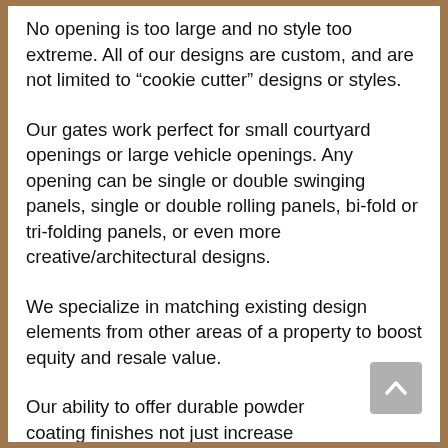No opening is too large and no style too extreme. All of our designs are custom, and are not limited to “cookie cutter” designs or styles.
Our gates work perfect for small courtyard openings or large vehicle openings. Any opening can be single or double swinging panels, single or double rolling panels, bi-fold or tri-folding panels, or even more creative/architectural designs.
We specialize in matching existing design elements from other areas of a property to boost equity and resale value.
Our ability to offer durable powder coating finishes not just increase longevity, but many different colors and textures.